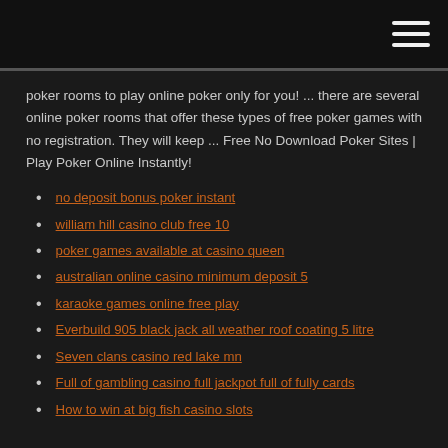poker rooms to play online poker only for you! ... there are several online poker rooms that offer these types of free poker games with no registration. They will keep ... Free No Download Poker Sites | Play Poker Online Instantly!
no deposit bonus poker instant
william hill casino club free 10
poker games available at casino queen
australian online casino minimum deposit 5
karaoke games online free play
Everbuild 905 black jack all weather roof coating 5 litre
Seven clans casino red lake mn
Full of gambling casino full jackpot full of fully cards
How to win at big fish casino slots